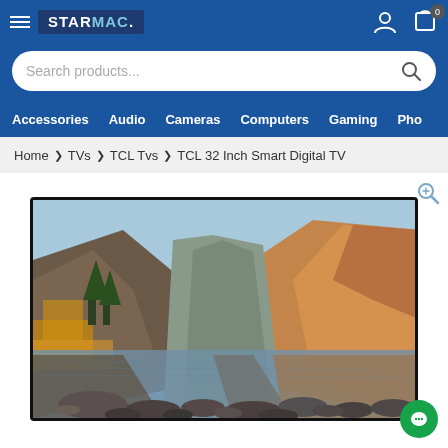STARMAC. navigation header with hamburger menu, logo, user icon, cart icon (0 items)
Search products...
Accessories  Audio  Cameras  Computers  Gaming  Pho
Home > TVs > TCL Tvs > TCL 32 Inch Smart Digital TV
[Figure (photo): TCL 32 Inch Smart Digital TV product image showing a scenic mountain lake landscape displayed on the television screen. Mountains with autumn foliage reflected in a calm lake, with rocks in the foreground.]